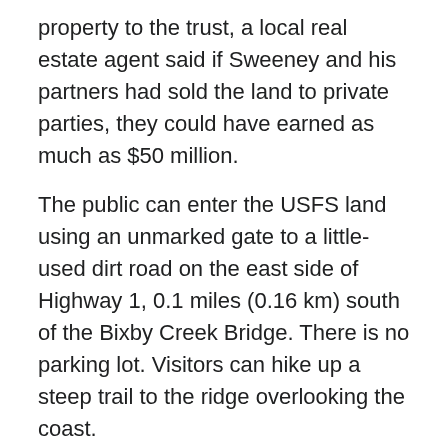property to the trust, a local real estate agent said if Sweeney and his partners had sold the land to private parties, they could have earned as much as $50 million.
The public can enter the USFS land using an unmarked gate to a little-used dirt road on the east side of Highway 1, 0.1 miles (0.16 km) south of the Bixby Creek Bridge. There is no parking lot. Visitors can hike up a steep trail to the ridge overlooking the coast.
Trail and road access
To allow access to the Mill Creek Redwood Preserve, a 2.7 miles (4.3 km) trail was built by hand over ten years from Palo Colorado Road to an overlook. The trail was closed in 2016 due to destruction from the Soberanes fire. As of June 2020, the Palo Colorado Road is closed due to